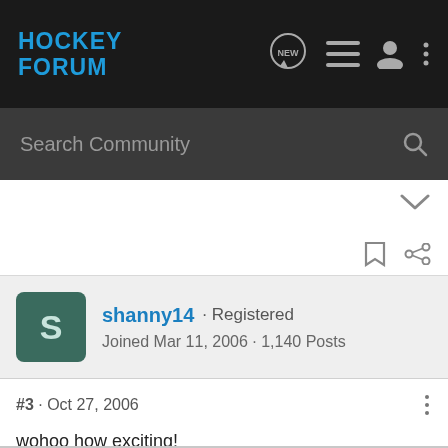HOCKEY FORUM
Search Community
shanny14 · Registered
Joined Mar 11, 2006 · 1,140 Posts
#3 · Oct 27, 2006
wohoo how exciting!